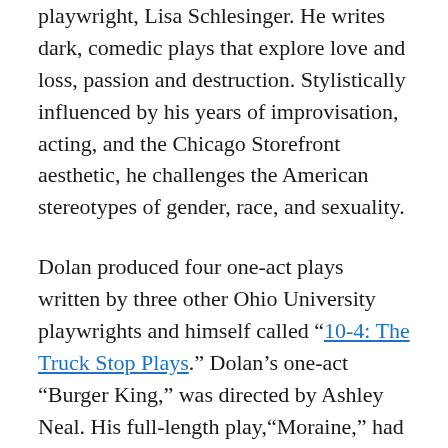playwright, Lisa Schlesinger. He writes dark, comedic plays that explore love and loss, passion and destruction. Stylistically influenced by his years of improvisation, acting, and the Chicago Storefront aesthetic, he challenges the American stereotypes of gender, race, and sexuality.
Dolan produced four one-act plays written by three other Ohio University playwrights and himself called “10-4: The Truck Stop Plays.” Dolan’s one-act “Burger King,” was directed by Ashley Neal. His full-length play,“Moraine,” had a reading at the 2014 Seabury Quinn Jr. Playwrights Festival at Ohio University, and at the Trellis Reading Series at the Greenhouse Theater Center. Ryan’s play “The Peace of Westphalia” was awarded the first-ever workshop production in the playwriting program at Columbia College. His ten-minute plays have been